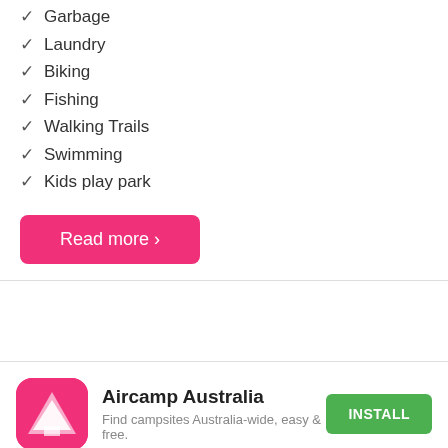✓ Garbage
✓ Laundry
✓ Biking
✓ Fishing
✓ Walking Trails
✓ Swimming
✓ Kids play park
Read more ›
[Figure (logo): Aircamp Australia app icon — pink/red rounded square with white triangle/tent shape]
Aircamp Australia
Find campsites Australia-wide, easy & free.
INSTALL